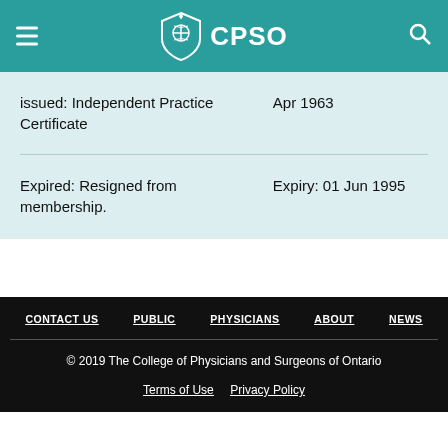CPSO
| Status | Date |
| --- | --- |
| issued: Independent Practice Certificate | Apr 1963 |
| Expired: Resigned from membership. | Expiry: 01 Jun 1995 |
CONTACT US  PUBLIC  PHYSICIANS  ABOUT  NEWS
© 2019 The College of Physicians and Surgeons of Ontario
Terms of Use  Privacy Policy